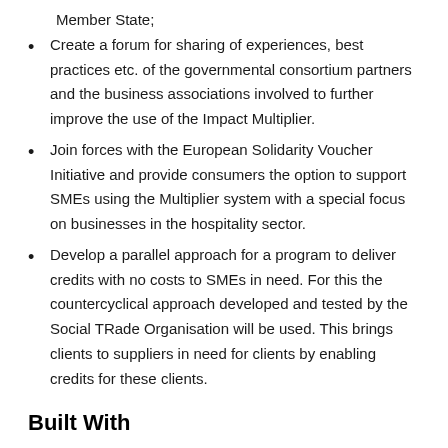Member State;
Create a forum for sharing of experiences, best practices etc. of the governmental consortium partners and the business associations involved to further improve the use of the Impact Multiplier.
Join forces with the European Solidarity Voucher Initiative and provide consumers the option to support SMEs using the Multiplier system with a special focus on businesses in the hospitality sector.
Develop a parallel approach for a program to deliver credits with no costs to SMEs in need. For this the countercyclical approach developed and tested by the Social TRade Organisation will be used. This brings clients to suppliers in need for clients by enabling credits for these clients.
Built With